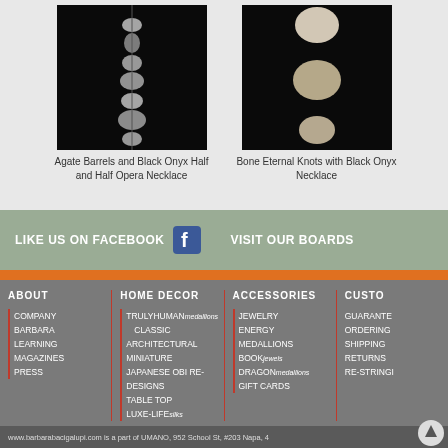[Figure (photo): Agate Barrels and Black Onyx Half and Half Opera Necklace product photo on black background]
Agate Barrels and Black Onyx Half and Half Opera Necklace
[Figure (photo): Bone Eternal Knots with Black Onyx Necklace product photo on black background]
Bone Eternal Knots with Black Onyx Necklace
LIKE US ON FACEBOOK
VISIT OUR BOARDS
ABOUT
HOME DECOR
ACCESSORIES
CUSTO
COMPANY
BARBARA
LEARNING
MAGAZINES
PRESS
TRULYHUMANmedallions
CLASSIC
ARCHITECTURAL
MINIATURE
JAPANESE OBI RE-DESIGNS
TABLE TOP
LUXE-LIFEsilks
JEWELRY
ENERGY
MEDALLIONS
BOOKjewels
DRAGONmedallions
GIFT CARDS
GUARANTEE
ORDERING
SHIPPING
RETURNS
RE-STRINGING
www.barbarabacigalupi.com is a part of UMANO, 952 School St, #203 Napa, 4